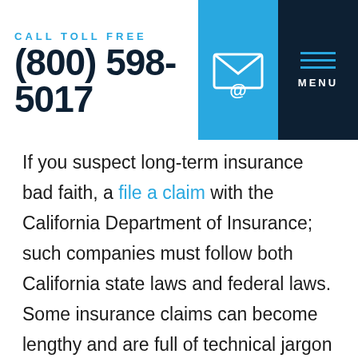CALL TOLL FREE (800) 598-5017
If you suspect long-term insurance bad faith, a file a claim with the California Department of Insurance; such companies must follow both California state laws and federal laws. Some insurance claims can become lengthy and are full of technical jargon – often to confuse the customer. Hiring a bad faith insurance lawyer who specializes in long-term insurance bad faith means the company will be less likely to try and